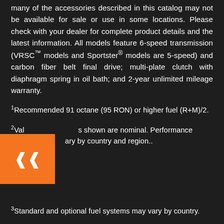many of the accessories described in this catalog may not be available for sale or use in some locations. Please check with your dealer for complete product details and the latest information. All models feature 6-speed transmission (VRSC™ models and Sportster® models are 5-speed) and carbon fiber belt final drive; multi-plate clutch with diaphragm spring in oil bath; and 2-year unlimited mileage warranty.
1Recommended 91 octane (95 RON) or higher fuel (R+M)/2.
2Values shown are nominal. Performance vary by country and region..
3Standard and optional fuel systems may vary by country.